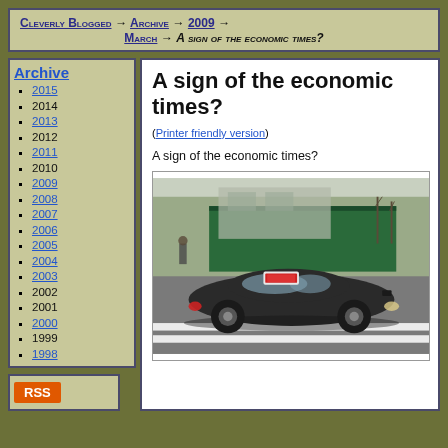Cleverly Blogged → Archive → 2009 → March → A sign of the economic times?
Archive
2015
2014
2013
2012
2011
2010
2009
2008
2007
2006
2005
2004
2003
2002
2001
2000
1999
1998
A sign of the economic times?
(Printer friendly version)
A sign of the economic times?
[Figure (photo): A dark sedan car on a street with a crosswalk, with a sign on the roof, buildings and fence in background]